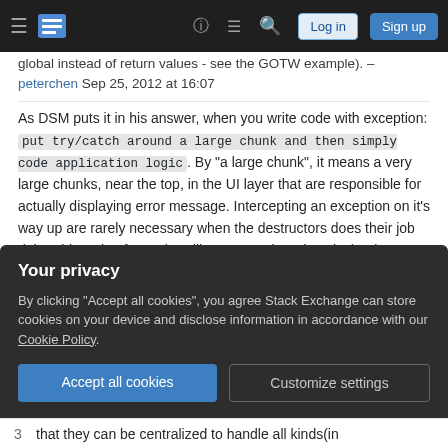Stack Exchange navigation bar with Log in and Sign up buttons
global instead of return values - see the GOTW example). – peterchen Sep 25, 2012 at 16:07
As DSM puts it in his answer, when you write code with exception: put try/catch around a large chunk and then simply code application logic. By "a large chunk", it means a very large chunks, near the top, in the UI layer that are responsible for actually displaying error message. Intercepting an exception on it's way up are rarely necessary when the destructors does their job right. This style of error handling means there is only the throwers and one catchers on the top, and anyone in between can ignore error handling, it generally leads to
Your privacy
By clicking "Accept all cookies", you agree Stack Exchange can store cookies on your device and disclose information in accordance with our Cookie Policy.
Accept all cookies
Customize settings
3  that they can be centralized to handle all kinds(in